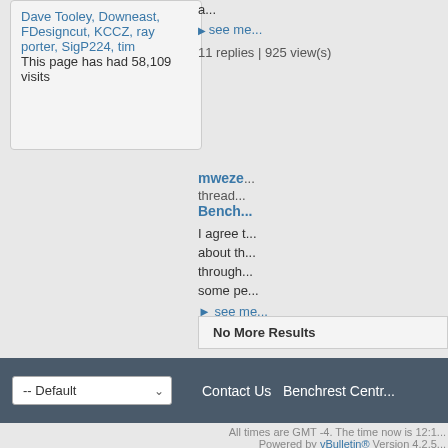Dave Tooley, Downeast, FDesigncut, KCCZ, ray porter, SigP224, tim
This page has had 58,109 visits
a...
see more
11 replies | 925 view(s)
mweze
thread
Bench...
I agree about th through some pe
see more
4 replies | 651 view(s)
No More Results
-- Default    Contact Us  Benchrest Centr...
All times are GMT -4. The time now is 12:1...
Powered by vBulletin® Version 4.2.5
Copyright © 2022 vBulletin Solutions Inc. All righ...